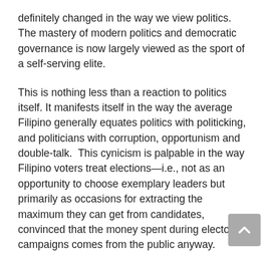definitely changed in the way we view politics. The mastery of modern politics and democratic governance is now largely viewed as the sport of a self-serving elite.
This is nothing less than a reaction to politics itself. It manifests itself in the way the average Filipino generally equates politics with politicking, and politicians with corruption, opportunism and double-talk. This cynicism is palpable in the way Filipino voters treat elections—i.e., not as an opportunity to choose exemplary leaders but primarily as occasions for extracting the maximum they can get from candidates, convinced that the money spent during electoral campaigns comes from the public anyway.
But even as they turn their back on candidates who...